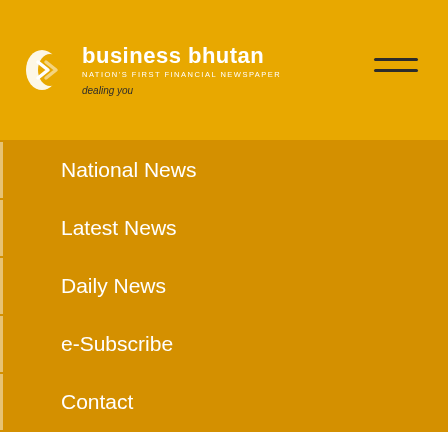[Figure (logo): Business Bhutan newspaper logo with circular icon, brand name, tagline 'NATION'S FIRST FINANCIAL NEWSPAPER' and 'dealing you']
National News
Latest News
Daily News
e-Subscribe
Contact
Calender
August 2022
| M | T | W | T | F | S | S |
| --- | --- | --- | --- | --- | --- | --- |